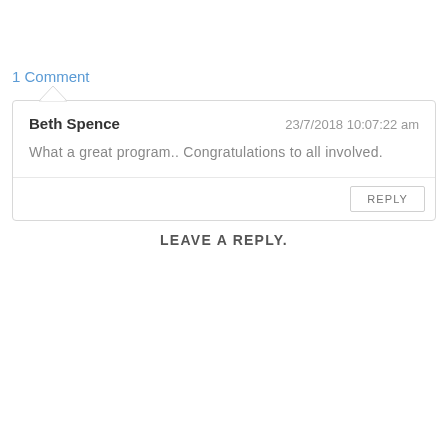1 Comment
Beth Spence
23/7/2018 10:07:22 am
What a great program.. Congratulations to all involved.
REPLY
LEAVE A REPLY.